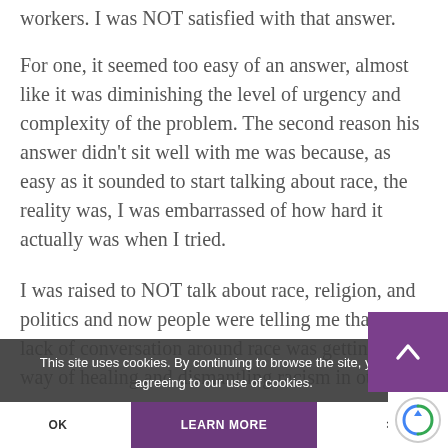workers. I was NOT satisfied with that answer.
For one, it seemed too easy of an answer, almost like it was diminishing the level of urgency and complexity of the problem. The second reason his answer didn't sit well with me was because, as easy as it sounded to start talking about race, the reality was, I was embarrassed of how hard it actually was when I tried.
I was raised to NOT talk about race, religion, and politics and now people were telling me that our lack of conversation around race was getting in the way of healing and dismantling racism in our
I was ready to dismantle my own hell zone, I needed...
This site uses cookies. By continuing to browse the site, you are agreeing to our use of cookies.
OK
LEARN MORE
×